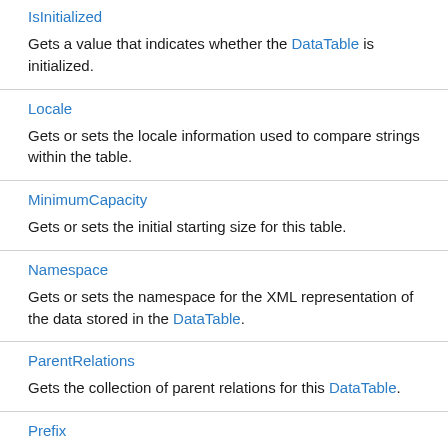IsInitialized
Gets a value that indicates whether the DataTable is initialized.
Locale
Gets or sets the locale information used to compare strings within the table.
MinimumCapacity
Gets or sets the initial starting size for this table.
Namespace
Gets or sets the namespace for the XML representation of the data stored in the DataTable.
ParentRelations
Gets the collection of parent relations for this DataTable.
Prefix
Gets or sets the namespace for the XML representation of the data stored in the DataTable.